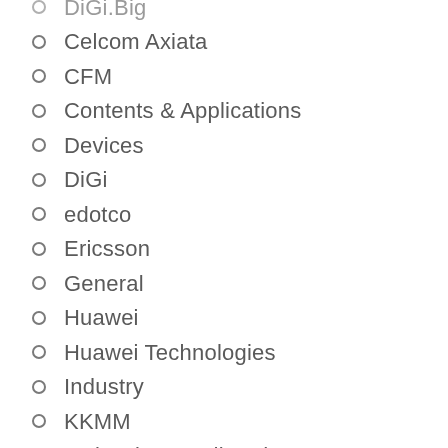DiGi.Big (partial, cropped at top)
Celcom Axiata
CFM
Contents & Applications
Devices
DiGi
edotco
Ericsson
General
Huawei
Huawei Technologies
Industry
KKMM
Malaysia Broadband
Malaysia Mobile Telecom Providers
Maxis
MCMC/SKMM
Mobile & Network Security
Mobile Operating System
Moto